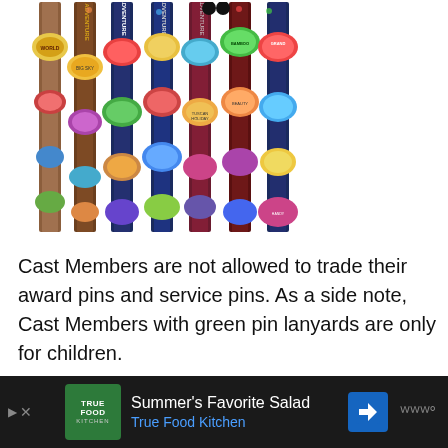[Figure (photo): Multiple Disney pin trading lanyards displayed vertically, showing various colorful Disney character pins attached to brown and dark blue/navy lanyards with Adventure/lanyard branding]
Cast Members are not allowed to trade their award pins and service pins.  As a side note, Cast Members with green pin lanyards are only for children.
[Figure (photo): Three Disney pins shown: a colorful floral/butterfly lanyard on the left, a purple starburst-shaped pin with characters in the center, and a circular pin with a character on the right]
Summer's Favorite Salad
True Food Kitchen